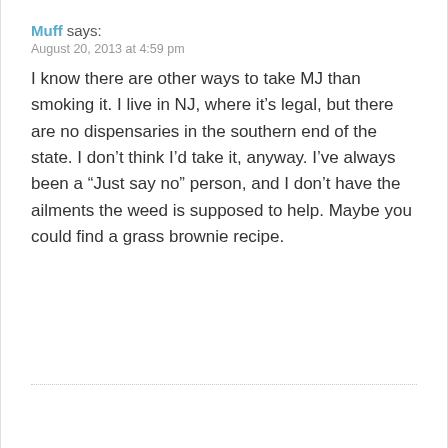Muff says:
August 20, 2013 at 4:59 pm
I know there are other ways to take MJ than smoking it. I live in NJ, where it’s legal, but there are no dispensaries in the southern end of the state. I don’t think I’d take it, anyway. I’ve always been a “Just say no” person, and I don’t have the ailments the weed is supposed to help. Maybe you could find a grass brownie recipe.